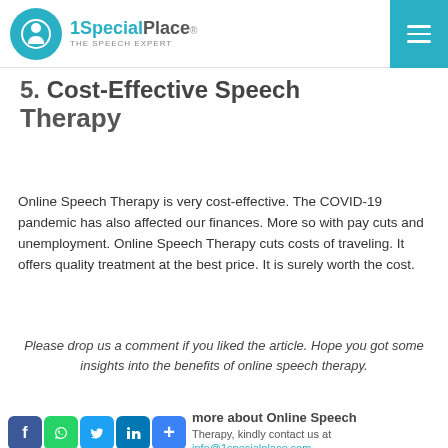1SpecialPlace® THE SPEECH EXPERT
5. Cost-Effective Speech Therapy
Online Speech Therapy is very cost-effective. The COVID-19 pandemic has also affected our finances. More so with pay cuts and unemployment. Online Speech Therapy cuts costs of traveling. It offers quality treatment at the best price. It is surely worth the cost.
Please drop us a comment if you liked the article. Hope you got some insights into the benefits of online speech therapy.
f more about Online Speech Therapy, kindly contact us at info@1specialplace.com